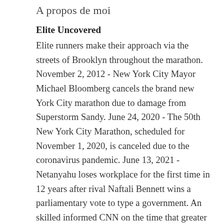A propos de moi
Elite Uncovered
Elite runners make their approach via the streets of Brooklyn throughout the marathon. November 2, 2012 - New York City Mayor Michael Bloomberg cancels the brand new York City marathon due to damage from Superstorm Sandy. June 24, 2020 - The 50th New York City Marathon, scheduled for November 1, 2020, is canceled due to the coronavirus pandemic. June 13, 2021 - Netanyahu loses workplace for the first time in 12 years after rival Naftali Bennett wins a parliamentary vote to type a government. An skilled informed CNN on the time that greater than 1,000 buildings have been liable to collapsing in Lagos. Sanni's